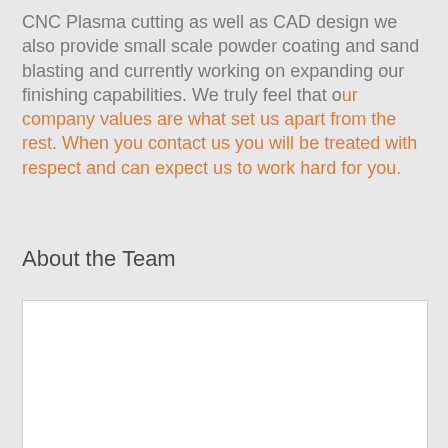CNC Plasma cutting as well as CAD design we also provide small scale powder coating and sand blasting and currently working on expanding our finishing capabilities. We truly feel that our company values are what set us apart from the rest. When you contact us you will be treated with respect and can expect us to work hard for you.
About the Team
[Figure (photo): White rectangular image placeholder below 'About the Team' section header]